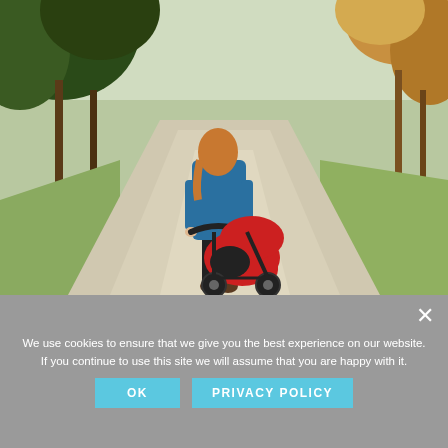[Figure (photo): A woman in a blue coat pushing a red baby stroller/pram along a park path, viewed from behind. Trees line the path on both sides, with autumn foliage visible. The scene is outdoors on a sunny day.]
Get Rid of those Extra Baby Pounds
by LAKISHA BALLARD
Can we all agree that after having a baby our diet is not necessarily our top priority? Adjusting to a new baby, new
We use cookies to ensure that we give you the best experience on our website. If you continue to use this site we will assume that you are happy with it.
OK    PRIVACY POLICY